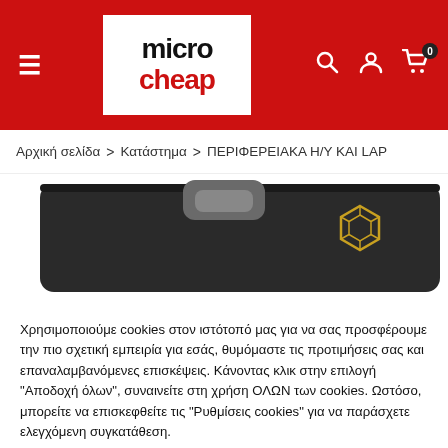[Figure (logo): micro cheap e-shop logo in white box on red header background]
micro cheap — navigation header with hamburger menu, logo, search, user, and cart icons
Αρχική σελίδα > Κατάστημα > ΠΕΡΙΦΕΡΕΙΑΚΑ Η/Υ ΚΑΙ LAP
[Figure (photo): Product package top edge showing dark packaging with hang tab and yellow hexagon logo]
Χρησιμοποιούμε cookies στον ιστότοπό μας για να σας προσφέρουμε την πιο σχετική εμπειρία για εσάς, θυμόμαστε τις προτιμήσεις σας και επαναλαμβανόμενες επισκέψεις. Κάνοντας κλικ στην επιλογή "Αποδοχή όλων", συναινείτε στη χρήση ΟΛΩΝ των cookies. Ωστόσο, μπορείτε να επισκεφθείτε τις "Ρυθμίσεις cookies" για να παράσχετε ελεγχόμενη συγκατάθεση.
Ρυθμίσεις cookies
Αποδοχή όλων